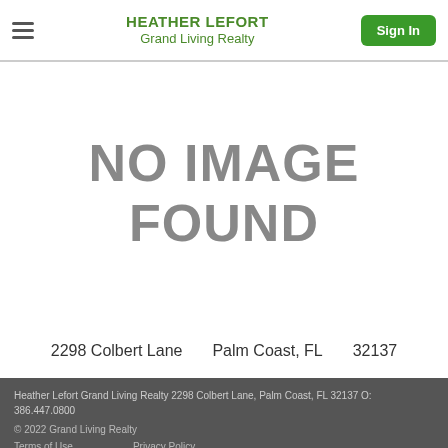HEATHER LEFORT Grand Living Realty Sign In
[Figure (other): No image found placeholder with gray text on white background]
2298 Colbert Lane   Palm Coast, FL   32137
Heather Lefort Grand Living Realty 2298 Colbert Lane, Palm Coast, FL 32137 O: 386.447.0800
© 2022 Grand Living Realty
Terms of Use   Privacy Policy